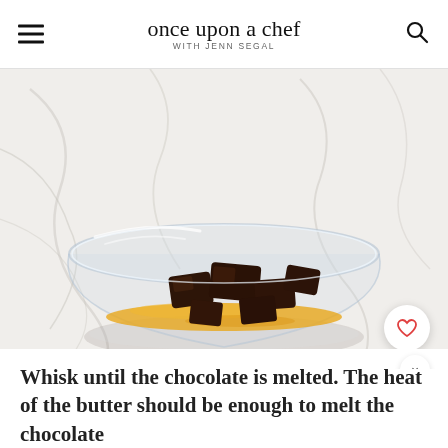once upon a chef WITH JENN SEGAL
[Figure (photo): Glass bowl on a white marble surface containing chunks of dark chocolate sitting in melted golden butter]
Whisk until the chocolate is melted. The heat of the butter should be enough to melt the chocolate